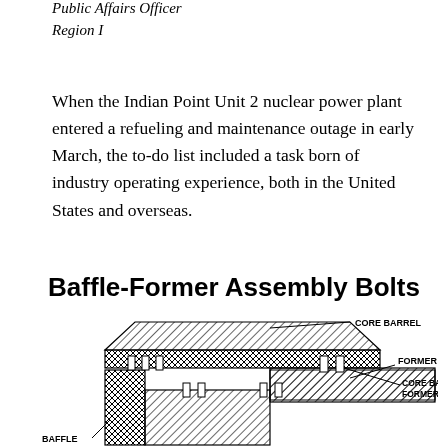Public Affairs Officer
Region I
When the Indian Point Unit 2 nuclear power plant entered a refueling and maintenance outage in early March, the to-do list included a task born of industry operating experience, both in the United States and overseas.
Baffle-Former Assembly Bolts
[Figure (engineering-diagram): Cross-sectional engineering diagram of a Baffle-Former Assembly showing labeled components: CORE BARREL (top), FORMER (middle right), CORE BARREL TO FORMER BOLT (right), and BAFFLE (bottom left). The diagram uses hatching patterns to indicate different materials and shows the structural arrangement of nuclear reactor internals.]